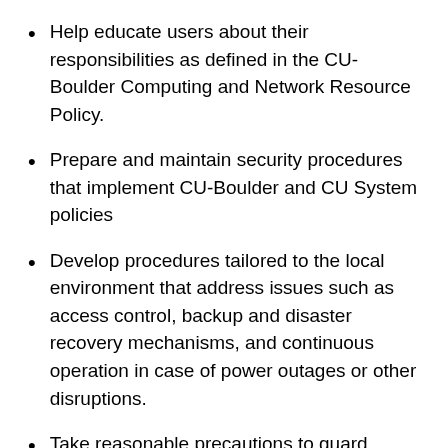Help educate users about their responsibilities as defined in the CU-Boulder Computing and Network Resource Policy.
Prepare and maintain security procedures that implement CU-Boulder and CU System policies
Develop procedures tailored to the local environment that address issues such as access control, backup and disaster recovery mechanisms, and continuous operation in case of power outages or other disruptions.
Take reasonable precautions to guard against and detect corruption, compromise, or destruction of IT resources. For systems and networks which he or she directly administer, system administrator activities may include: conducting security scans; conducting dictionary comparisons or otherwise checking password information related to system; and intercepting or inspecting information on route